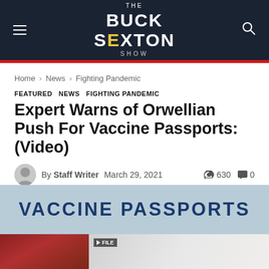THE BUCK SEXTON SHOW
Home › News › Fighting Pandemic
FEATURED  NEWS  FIGHTING PANDEMIC
Expert Warns of Orwellian Push For Vaccine Passports: (Video)
By Staff Writer  March 29, 2021  630 views  0 comments
Facebook  Twitter  +
[Figure (photo): Vaccine Passports banner image with two photos below]